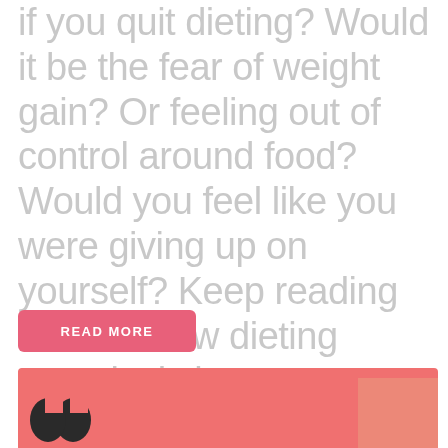if you quit dieting? Would it be the fear of weight gain? Or feeling out of control around food? Would you feel like you were giving up on yourself? Keep reading to learn how dieting negatively impacts your health. How you can start taking control of what, when and
READ MORE
[Figure (infographic): Social media sharing icons: Facebook (blue), Pinterest (dark red), Twitter (light blue), and a Facebook Like button showing 0 likes]
[Figure (photo): Bottom banner with salmon/coral pink background showing partial view of a person and decorative elements]